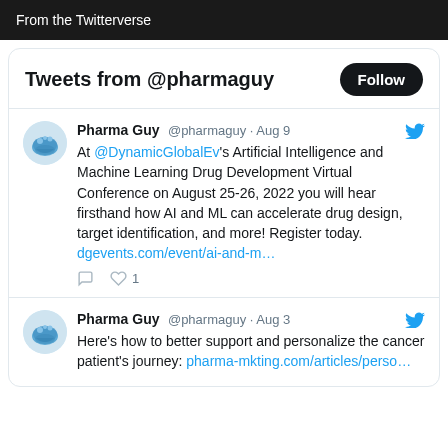From the Twitterverse
Tweets from @pharmaguy
Pharma Guy @pharmaguy · Aug 9
At @DynamicGlobalEv's Artificial Intelligence and Machine Learning Drug Development Virtual Conference on August 25-26, 2022 you will hear firsthand how AI and ML can accelerate drug design, target identification, and more! Register today.
dgevents.com/event/ai-and-m…
Pharma Guy @pharmaguy · Aug 3
Here's how to better support and personalize the cancer patient's journey: pharma-mkting.com/articles/perso…